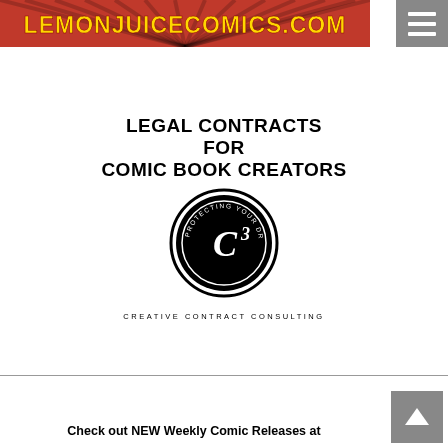[Figure (logo): LemonJuiceComics.com banner logo with red sunburst background and yellow text]
[Figure (logo): Hamburger menu icon button (grey square with three horizontal white lines)]
LEGAL CONTRACTS FOR COMIC BOOK CREATORS
[Figure (logo): C3 circular logo - black circle with C superscript 3, text reading PROTECTING YOUR DREAMS around inner circle, CREATIVE CONTRACT CONSULTING below]
CREATIVE CONTRACT CONSULTING
Check out NEW Weekly Comic Releases at